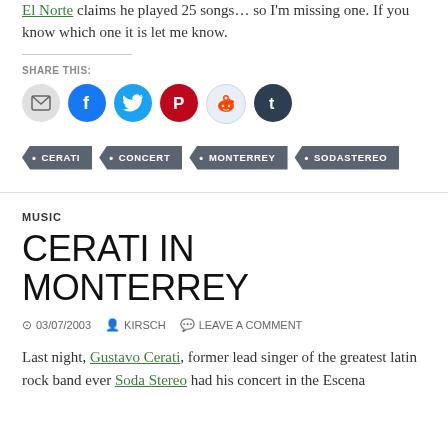El Norte claims he played 25 songs… so I'm missing one. If you know which one it is let me know.
SHARE THIS:
[Figure (infographic): Share buttons: email, Facebook, Twitter, Pinterest, Reddit, Tumblr]
Tags: CERATI, CONCERT, MONTERREY, SODASTEREO
MUSIC
CERATI IN MONTERREY
03/07/2003  KIRSCH  LEAVE A COMMENT
Last night, Gustavo Cerati, former lead singer of the greatest latin rock band ever Soda Stereo had his concert in the Escena